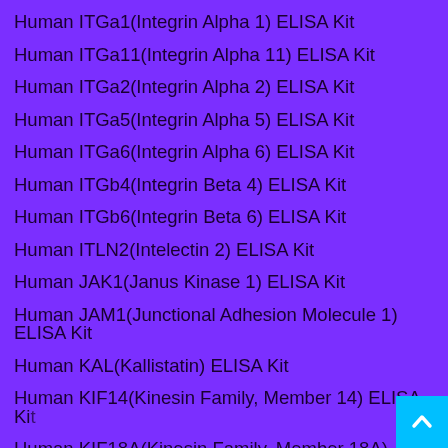Human ITGa1(Integrin Alpha 1) ELISA Kit
Human ITGa11(Integrin Alpha 11) ELISA Kit
Human ITGa2(Integrin Alpha 2) ELISA Kit
Human ITGa5(Integrin Alpha 5) ELISA Kit
Human ITGa6(Integrin Alpha 6) ELISA Kit
Human ITGb4(Integrin Beta 4) ELISA Kit
Human ITGb6(Integrin Beta 6) ELISA Kit
Human ITLN2(Intelectin 2) ELISA Kit
Human JAK1(Janus Kinase 1) ELISA Kit
Human JAM1(Junctional Adhesion Molecule 1) ELISA Kit
Human KAL(Kallistatin) ELISA Kit
Human KIF14(Kinesin Family, Member 14) ELISA Kit
Human KIF18A(Kinesin Family, Member 18A) ELISA Kit